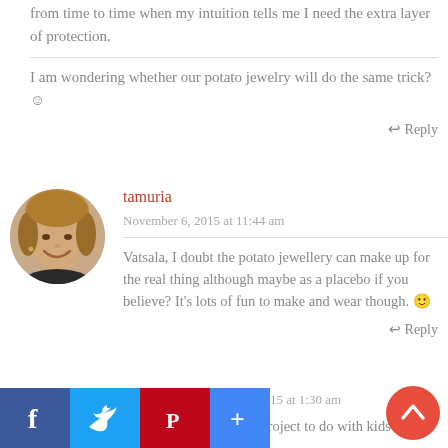from time to time when my intuition tells me I need the extra layer of protection.
I am wondering whether our potato jewelry will do the same trick? ☺
↩ Reply
tamuria
November 6, 2015 at 11:44 am
Vatsala, I doubt the potato jewellery can make up for the real thing although maybe as a placebo if you believe? It's lots of fun to make and wear though. 🙂
↩ Reply
rozbeads
November 6, 2015 at 1:30 am
his is a wonderful craft project to do with kids that can wait patiently for the
[Figure (photo): Round avatar photo of tamuria - a smiling woman with light brown hair]
[Figure (photo): Partial round avatar photo of rozbeads - purple/dark tones, partially visible]
[Figure (infographic): Social share buttons: Facebook (blue), Twitter (light blue), Pinterest (red), plus button (blue)]
[Figure (other): Red circular scroll-to-top button with upward chevron]